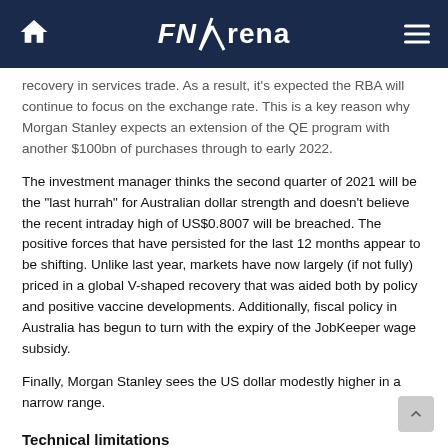FNArena
recovery in services trade. As a result, it's expected the RBA will continue to focus on the exchange rate. This is a key reason why Morgan Stanley expects an extension of the QE program with another $100bn of purchases through to early 2022.
The investment manager thinks the second quarter of 2021 will be the "last hurrah" for Australian dollar strength and doesn't believe the recent intraday high of US$0.8007 will be breached. The positive forces that have persisted for the last 12 months appear to be shifting. Unlike last year, markets have now largely (if not fully) priced in a global V-shaped recovery that was aided both by policy and positive vaccine developments. Additionally, fiscal policy in Australia has begun to turn with the expiry of the JobKeeper wage subsidy.
Finally, Morgan Stanley sees the US dollar modestly higher in a narrow range.
Technical limitations
If you are reading this story through a third party distribution